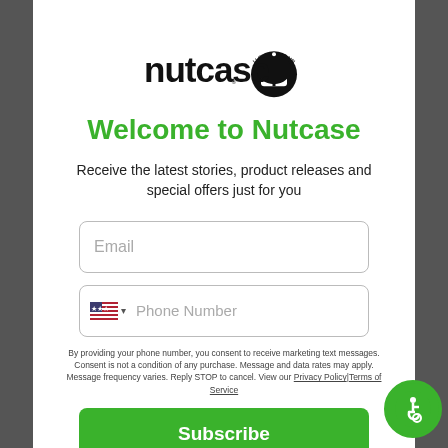[Figure (logo): Nutcase helmet brand logo — stylized text 'nutcase' with helmet icon and tagline 'I love my brain']
Welcome to Nutcase
Receive the latest stories, product releases and special offers just for you
[Figure (screenshot): Email input field with placeholder text 'Email']
[Figure (screenshot): Phone number input field with US flag dropdown and placeholder text 'Phone Number']
By providing your phone number, you consent to receive marketing text messages. Consent is not a condition of any purchase. Message and data rates may apply. Message frequency varies. Reply STOP to cancel. View our Privacy Policy|Terms of Service
[Figure (screenshot): Green Subscribe button]
[Figure (illustration): Accessibility icon — green circle with wheelchair user symbol]